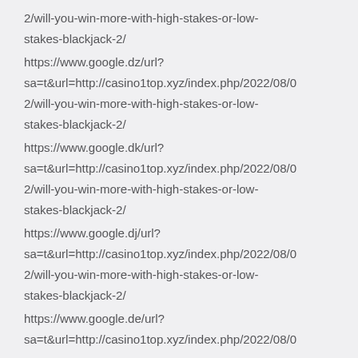2/will-you-win-more-with-high-stakes-or-low-stakes-blackjack-2/
https://www.google.dz/url?sa=t&url=http://casino1top.xyz/index.php/2022/08/02/will-you-win-more-with-high-stakes-or-low-stakes-blackjack-2/
https://www.google.dk/url?sa=t&url=http://casino1top.xyz/index.php/2022/08/02/will-you-win-more-with-high-stakes-or-low-stakes-blackjack-2/
https://www.google.dj/url?sa=t&url=http://casino1top.xyz/index.php/2022/08/02/will-you-win-more-with-high-stakes-or-low-stakes-blackjack-2/
https://www.google.de/url?sa=t&url=http://casino1top.xyz/index.php/2022/08/0